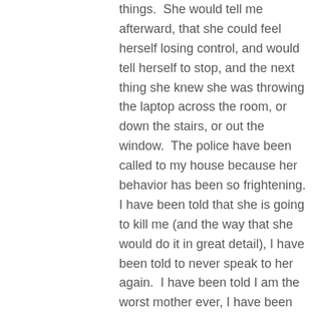things.  She would tell me afterward, that she could feel herself losing control, and would tell herself to stop, and the next thing she knew she was throwing the laptop across the room, or down the stairs, or out the window.  The police have been called to my house because her behavior has been so frightening. I have been told that she is going to kill me (and the way that she would do it in great detail), I have been told to never speak to her again.  I have been told I am the worst mother ever, I have been told that she hates me more than any person could hate